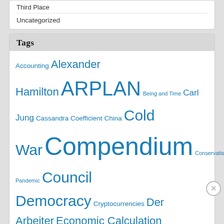Third Place
Uncategorized
Tags
Accounting Alexander Hamilton ARPLAN Being and Time Carl Jung Cassandra Coefficient China Cold War Compendium Conservatism Coronavirus Pandemic Council Democracy Cryptocurrencies Der Arbeiter Economic Calculation Problem Economic History Economics Ernst Jünger European Union Fascism Federalist Party Federal Socialism Finance Financial Warfare Fractional-Reserve Banking Friedrich Nietzsche
Advertisements
[Figure (screenshot): WordPress hosting advertisement banner reading 'WORDPRESS HOSTING THAT MEANS BUSINESS.' with P logo and OPEN sign photo]